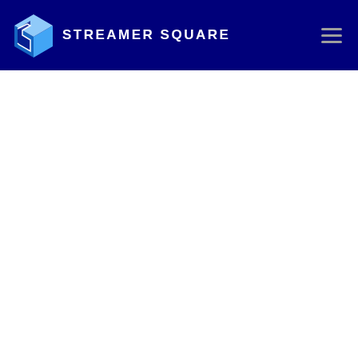STREAMER SQUARE
[Figure (logo): Streamer Square logo: a stylized 3D cube/box with an S-shape, blue gradient colors, alongside the text STREAMER SQUARE in white bold uppercase letters on a dark navy background header.]